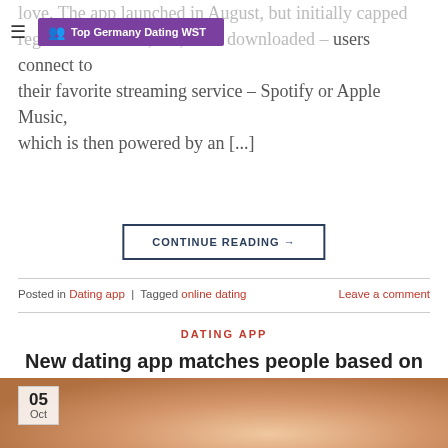Top Germany Dating WST
love. The app launched in August, but initially capped registrations to 25,000, once downloaded – users connect to their favorite streaming service – Spotify or Apple Music, which is then powered by an [...]
CONTINUE READING →
Posted in Dating app | Tagged online dating    Leave a comment
DATING APP
New dating app matches people based on the music they listen to on their phones
POSTED ON OCTOBER 5, 2021 BY RAUL J. FERGUSON
[Figure (photo): Couple photo with date overlay showing 05 Oct]